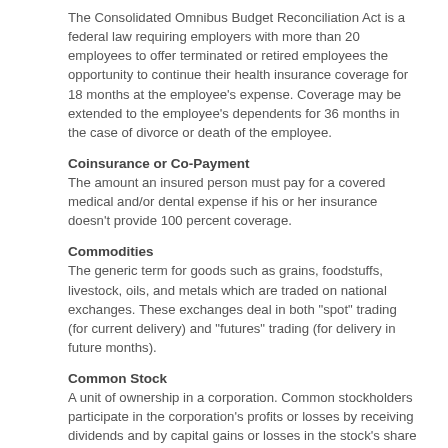The Consolidated Omnibus Budget Reconciliation Act is a federal law requiring employers with more than 20 employees to offer terminated or retired employees the opportunity to continue their health insurance coverage for 18 months at the employee's expense. Coverage may be extended to the employee's dependents for 36 months in the case of divorce or death of the employee.
Coinsurance or Co-Payment
The amount an insured person must pay for a covered medical and/or dental expense if his or her insurance doesn't provide 100 percent coverage.
Commodities
The generic term for goods such as grains, foodstuffs, livestock, oils, and metals which are traded on national exchanges. These exchanges deal in both "spot" trading (for current delivery) and "futures" trading (for delivery in future months).
Common Stock
A unit of ownership in a corporation. Common stockholders participate in the corporation's profits or losses by receiving dividends and by capital gains or losses in the stock's share price.
Community Property